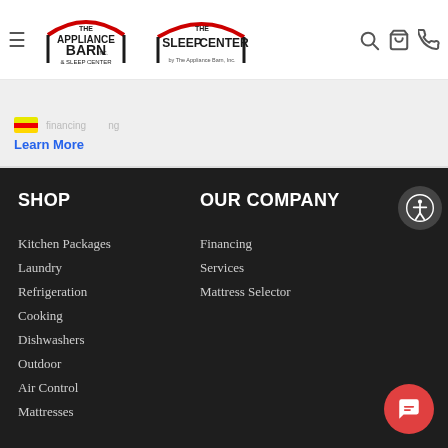The Appliance Barn & Sleep Center / The Sleep Center by The Appliance Barn, Inc. — navigation header with hamburger menu, search, cart, and phone icons
Learn More
SHOP
Kitchen Packages
Laundry
Refrigeration
Cooking
Dishwashers
Outdoor
Air Control
Mattresses
OUR COMPANY
Financing
Services
Mattress Selector